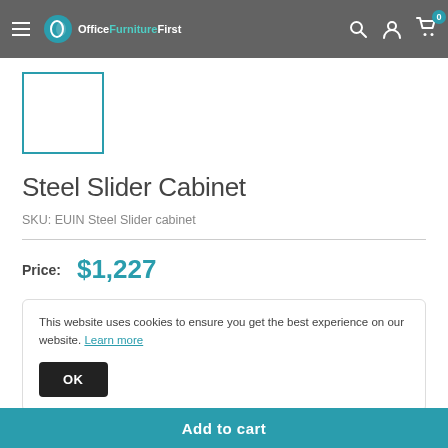Office Furniture First — navigation header with hamburger menu, search, account, and cart icons
[Figure (photo): Product image placeholder — white square with teal border]
Steel Slider Cabinet
SKU: EUIN Steel Slider cabinet
Price: $1,227
This website uses cookies to ensure you get the best experience on our website. Learn more
OK
Add to cart